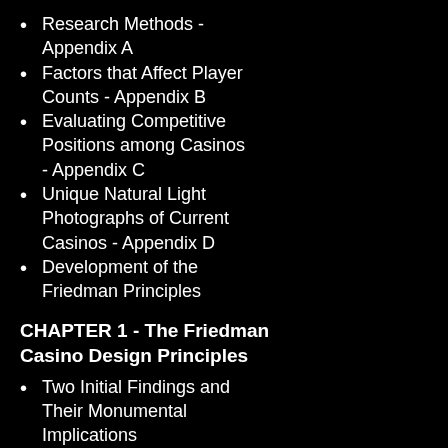Research Methods - Appendix A
Factors that Affect Player Counts - Appendix B
Evaluating Competitive Positions among Casinos - Appendix C
Unique Natural Light Photographs of Current Casinos - Appendix D
Development of the Friedman Principles
CHAPTER 1 - The Friedman Casino Design Principles
Two Initial Findings and Their Monumental Implications
The Definition of Casino